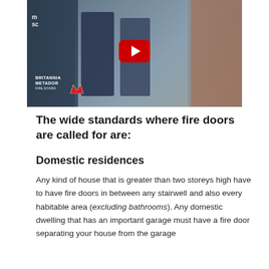[Figure (screenshot): YouTube video thumbnail showing two people in uniforms near a door. A red YouTube play button is centered at the top. A 'Britannia Metador' logo with a red M emblem is visible in the lower left of the thumbnail.]
The wide standards where fire doors are called for are:
Domestic residences
Any kind of house that is greater than two storeys high have to have fire doors in between any stairwell and also every habitable area (excluding bathrooms). Any domestic dwelling that has an important garage must have a fire door separating your house from the garage